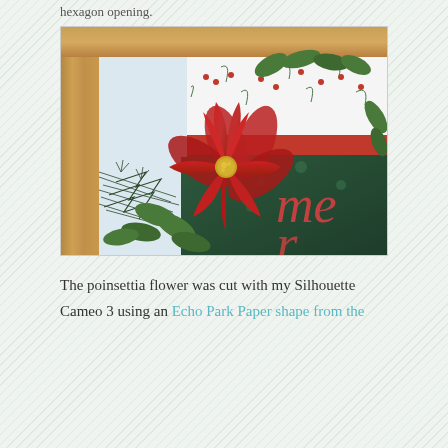hexagon opening.
[Figure (photo): Close-up photograph of a handmade red paper poinsettia flower with green leaves, placed on a Christmas-themed craft project. The background shows Christmas patterned paper with holly and berry designs in green and red, and partially visible text reading 'me' in red script on a dark green background. The frame appears to be made of wood-colored paper.]
The poinsettia flower was cut with my Silhouette Cameo 3 using an Echo Park Paper shape from the